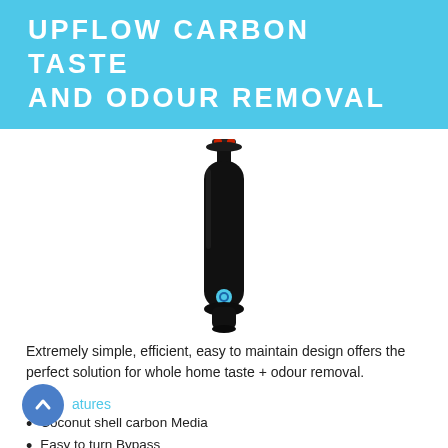UPFLOW CARBON TASTE AND ODOUR REMOVAL
[Figure (photo): A tall black cylindrical water filter tank with a red valve/fitting at the top and a blue label near the bottom, shown vertically on a white background.]
Extremely simple, efficient, easy to maintain design offers the perfect solution for whole home taste + odour removal.
Features
Coconut shell carbon Media
Easy to turn Bypass